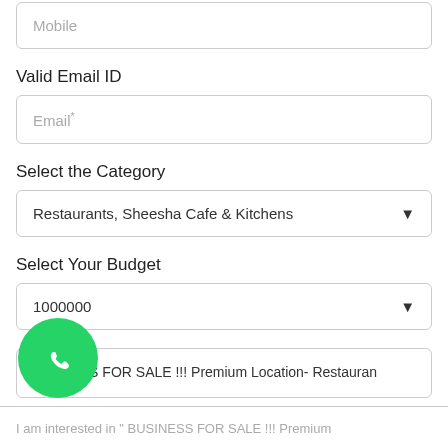[Figure (screenshot): Mobile input field at top, partially visible]
Valid Email ID
Email*
Select the Category
Restaurants, Sheesha Cafe & Kitchens
Select Your Budget
1000000
BUSINESS FOR SALE !!! Premium Location- Restauran
[Figure (logo): WhatsApp green circular button icon]
I am interested in " BUSINESS FOR SALE !!! Premium